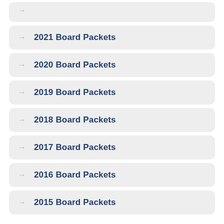2021 Board Packets
2020 Board Packets
2019 Board Packets
2018 Board Packets
2017 Board Packets
2016 Board Packets
2015 Board Packets